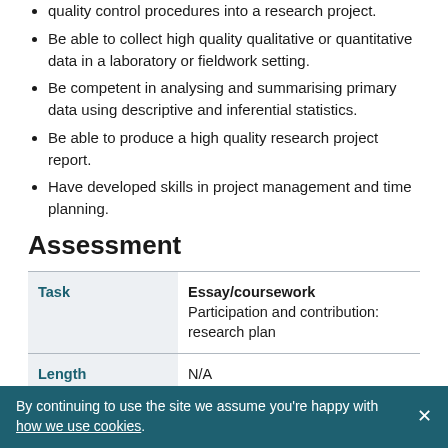quality control procedures into a research project.
Be able to collect high quality qualitative or quantitative data in a laboratory or fieldwork setting.
Be competent in analysing and summarising primary data using descriptive and inferential statistics.
Be able to produce a high quality research project report.
Have developed skills in project management and time planning.
Assessment
| Task | Essay/coursework
Participation and contribution: research plan |
| --- | --- |
| Length | N/A |
| % of module mark | 10 |
By continuing to use the site we assume you're happy with how we use cookies.